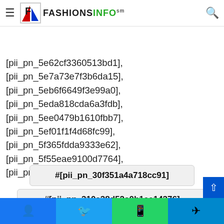FASHIONSINFO
[pii_pn_5e62cf3360513bd1], [pii_pn_5e7a73e7f3b6da15], [pii_pn_5eb6f6649f3e99a0], [pii_pn_5eda818cda6a3fdb], [pii_pn_5ee0479b1610fbb7], [pii_pn_5ef01f1f4d68fc99], [pii_pn_5f365fdda9333e62], [pii_pn_5f55eae9100d7764], [pii_pn_5f6a53862faa8d04],
#[pii_pn_30f351a4a718cc91]
#[pii_pn_310a38d52a0b1ee14376]
#[pii_pn_3117eb26b6d06dbf]
#[pii_pn_31191a9cd6f36ef1]
#[pii_pn_311e0f6febe6f406]
Facebook Twitter WhatsApp Telegram